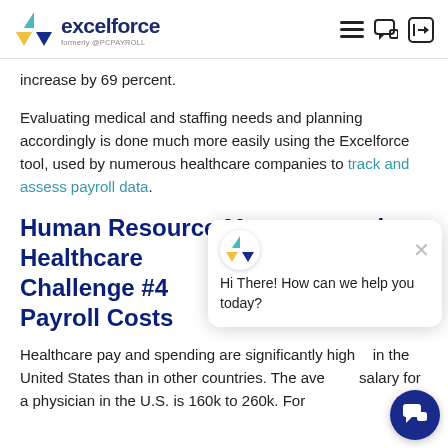excelforce formerly @PCPAYROLL
increase by 69 percent.
Evaluating medical and staffing needs and planning accordingly is done much more easily using the Excelforce tool, used by numerous healthcare companies to track and assess payroll data.
Human Resource Management in Healthcare Challenge #4 Payroll Costs
Healthcare pay and spending are significantly higher in the United States than in other countries. The average salary for a physician in the U.S. is 160k to 260k. For